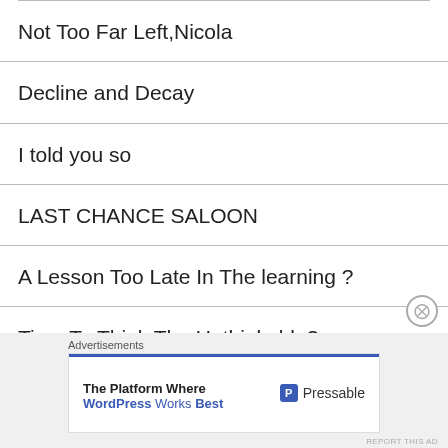Not Too Far Left,Nicola
Decline and Decay
I told you so
LAST CHANCE SALOON
A Lesson Too Late In The learning ?
Time To Think The Unthinkable?
SNP, The Manifesto And The Day Job
Advertisements
The Platform Where WordPress Works Best — Pressable